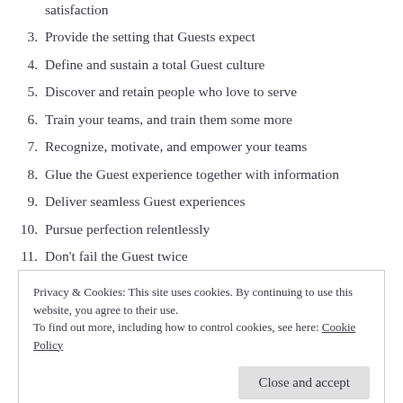satisfaction
3. Provide the setting that Guests expect
4. Define and sustain a total Guest culture
5. Discover and retain people who love to serve
6. Train your teams, and train them some more
7. Recognize, motivate, and empower your teams
8. Glue the Guest experience together with information
9. Deliver seamless Guest experiences
10. Pursue perfection relentlessly
11. Don't fail the Guest twice
12. Lead your teams to excel
Privacy & Cookies: This site uses cookies. By continuing to use this website, you agree to their use.
To find out more, including how to control cookies, see here: Cookie Policy
Close and accept